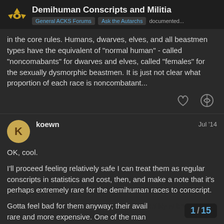Demihuman Conscripts and Militia | General ACKS Forums | Ask the Autarchs documented...
in the core rules. Humans, dwarves, elves, and all beastmen types have the equivalent of "normal human" - called "noncomabants" for dwarves and elves, called "females" for the sexually dysmorphic beastmen. It is just not clear what proportion of each race is noncombatant...
koewn Jul '14
OK, cool.
I'll proceed feeling relatively safe I can treat them as regular conscripts in statistics and cost, then, and make a note that it's perhaps extremely rare for the demihuman races to conscript.
Gotta feel bad for them anyway; their avail rare and more expensive. One of the many
1 / 15